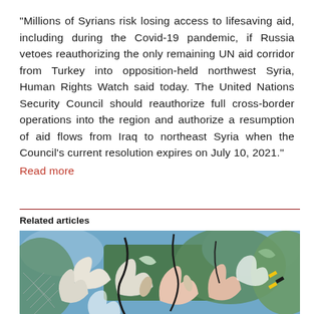“Millions of Syrians risk losing access to lifesaving aid, including during the Covid-19 pandemic, if Russia vetoes reauthorizing the only remaining UN aid corridor from Turkey into opposition-held northwest Syria, Human Rights Watch said today. The United Nations Security Council should reauthorize full cross-border operations into the region and authorize a resumption of aid flows from Iraq to northeast Syria when the Council’s current resolution expires on July 10, 2021.” Read more
Related articles
[Figure (illustration): An abstract/surrealist painting depicting chaotic figures, animals, and organic shapes in a landscape with blues, greens, pinks, whites, reds and yellows. Style reminiscent of mid-20th century surrealist or abstract expressionist art.]